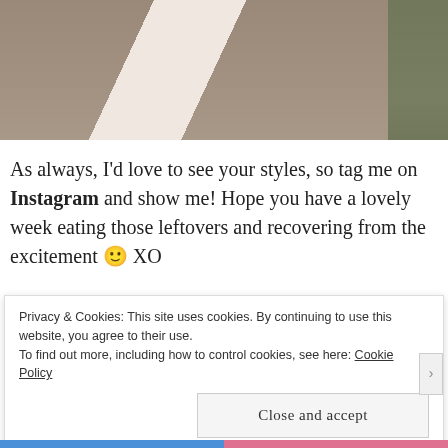[Figure (photo): Partial photo of a person wearing a black dress and light pink/cream cardigan, standing outdoors on a paved surface with greenery visible at right edge. Only the torso and hands are visible.]
As always, I'd love to see your styles, so tag me on Instagram and show me! Hope you have a lovely week eating those leftovers and recovering from the excitement 🙂 XO
Privacy & Cookies: This site uses cookies. By continuing to use this website, you agree to their use.
To find out more, including how to control cookies, see here: Cookie Policy
Close and accept